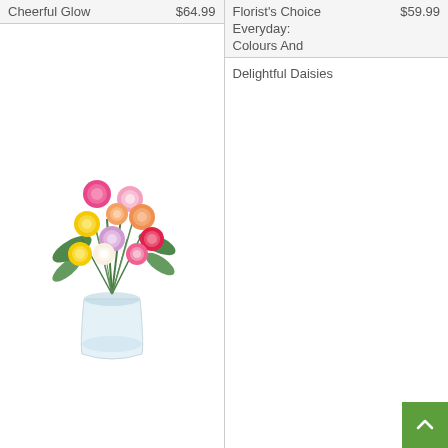Cheerful Glow    $64.99
[Figure (photo): Colourful mixed roses in a glass vase with baby's breath and greenery]
Florist's Choice    $59.99
Everyday:
Colours And
Delightful Daisies